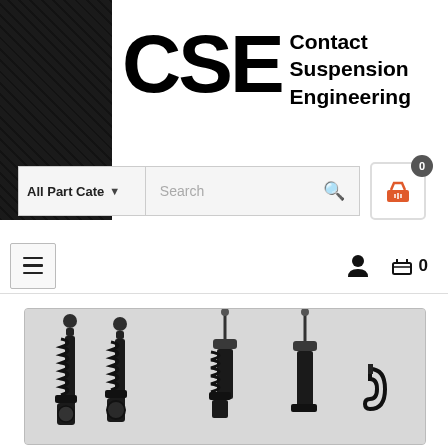[Figure (logo): CSE - Contact Suspension Engineering logo on white background with dark textured banner]
[Figure (screenshot): Website navigation bar with All Part Categories dropdown, search box, and cart icon with badge showing 0]
[Figure (screenshot): Mobile navigation bar with hamburger menu, user icon, and cart showing 0]
[Figure (photo): Product photo showing four automotive suspension coilover strut assemblies in various stages of assembly on grey background]